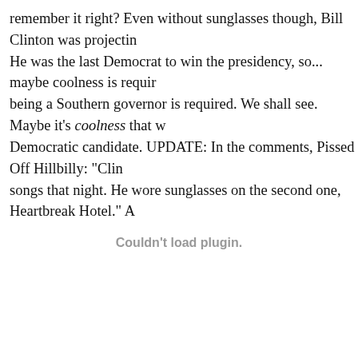remember it right? Even without sunglasses though, Bill Clinton was projecting cool. He was the last Democrat to win the presidency, so... maybe coolness is required, or being a Southern governor is required. We shall see. Maybe it's coolness that wins the Democratic candidate. UPDATE: In the comments, Pissed Off Hillbilly: "Clinton played two songs that night. He wore sunglasses on the second one, Heartbreak Hotel." A
Couldn't load plugin.